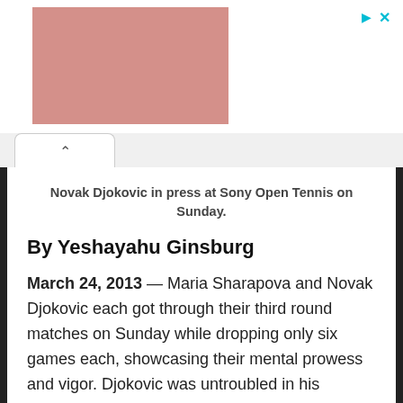[Figure (illustration): Pink/mauve colored rectangular advertisement image placeholder in the top banner area]
Novak Djokovic in press at Sony Open Tennis on Sunday.
By Yeshayahu Ginsburg
March 24, 2013 — Maria Sharapova and Novak Djokovic each got through their third round matches on Sunday while dropping only six games each, showcasing their mental prowess and vigor. Djokovic was untroubled in his